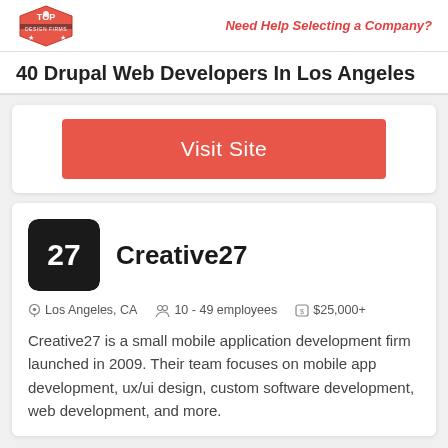Need Help Selecting a Company?
40 Drupal Web Developers In Los Angeles
Visit Site
Creative27
Los Angeles, CA   10 - 49 employees   $25,000+
Creative27 is a small mobile application development firm launched in 2009. Their team focuses on mobile app development, ux/ui design, custom software development, web development, and more.